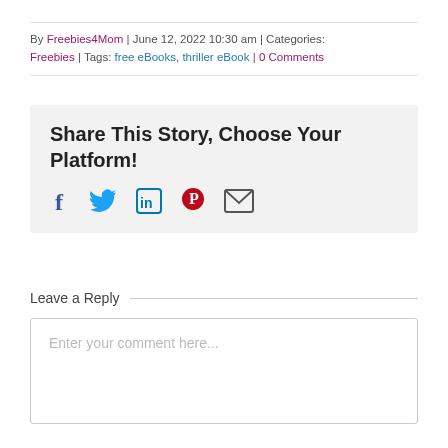By Freebies4Mom | June 12, 2022 10:30 am | Categories: Freebies | Tags: free eBooks, thriller eBook | 0 Comments
Share This Story, Choose Your Platform!
[Figure (infographic): Social sharing icons: Facebook (f), Twitter (bird), LinkedIn (in), Pinterest (P), Email (envelope)]
Leave a Reply
Enter your comment here...